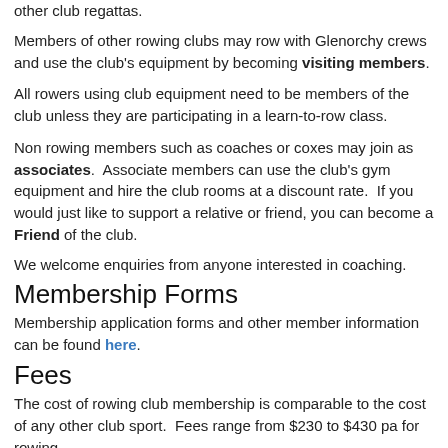other club regattas.
Members of other rowing clubs may row with Glenorchy crews and use the club's equipment by becoming visiting members.
All rowers using club equipment need to be members of the club unless they are participating in a learn-to-row class.
Non rowing members such as coaches or coxes may join as associates.  Associate members can use the club's gym equipment and hire the club rooms at a discount rate.  If you would just like to support a relative or friend, you can become a Friend of the club.
We welcome enquiries from anyone interested in coaching.
Membership Forms
Membership application forms and other member information can be found here.
Fees
The cost of rowing club membership is comparable to the cost of any other club sport.  Fees range from $230 to $430 pa for rowing